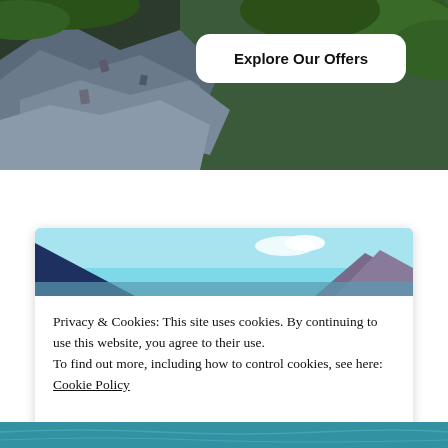[Figure (photo): Rocky cliff face with green vegetation/trees, outdoor nature landscape photo]
Explore Our Offers
[Figure (photo): Mountain lake scene with blue sky, dark mountain silhouettes and rocky peaks]
Privacy & Cookies: This site uses cookies. By continuing to use this website, you agree to their use.
To find out more, including how to control cookies, see here: Cookie Policy
Close and accept
[Figure (photo): Bottom portion of a body of water / aquatic scene]